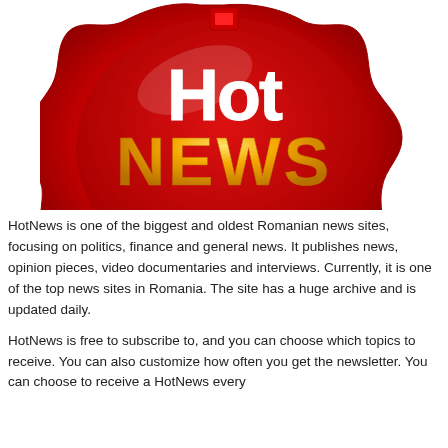[Figure (logo): HotNews logo: a red wax seal shape with white text 'Hot' and gold/yellow text 'NEWS' on a circular red background]
HotNews is one of the biggest and oldest Romanian news sites, focusing on politics, finance and general news. It publishes news, opinion pieces, video documentaries and interviews. Currently, it is one of the top news sites in Romania. The site has a huge archive and is updated daily.
HotNews is free to subscribe to, and you can choose which topics to receive. You can also customize how often you get the newsletter. You can choose to receive a HotNews every